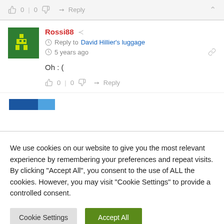👍 0 | 0 👎 ➜ Reply ∧
Rossi88 — Reply to David Hillier's luggage — 5 years ago
Oh :(
👍 0 | 0 👎 ➜ Reply
We use cookies on our website to give you the most relevant experience by remembering your preferences and repeat visits. By clicking "Accept All", you consent to the use of ALL the cookies. However, you may visit "Cookie Settings" to provide a controlled consent.
Cookie Settings | Accept All